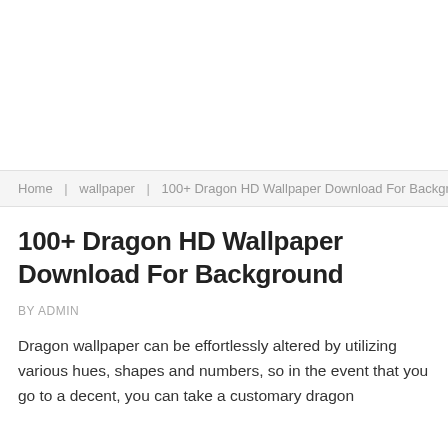Home | wallpaper | 100+ Dragon HD Wallpaper Download For Background
100+ Dragon HD Wallpaper Download For Background
BY ADMIN
Dragon wallpaper can be effortlessly altered by utilizing various hues, shapes and numbers, so in the event that you go to a decent, you can take a customary dragon